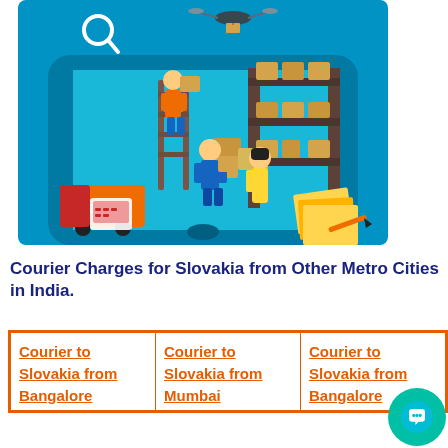[Figure (illustration): Isometric illustration of logistics and courier services: workers handling packages on a large smartphone platform, warehouse shelves with boxes, a drone overhead, a 24/7 delivery truck, and stacked envelopes/documents. Blue background.]
Courier Charges for Slovakia from Other Metro Cities in India.
| Courier to Slovakia from Bangalore | Courier to Slovakia from Mumbai | Courier to Slovakia from Bangalore |